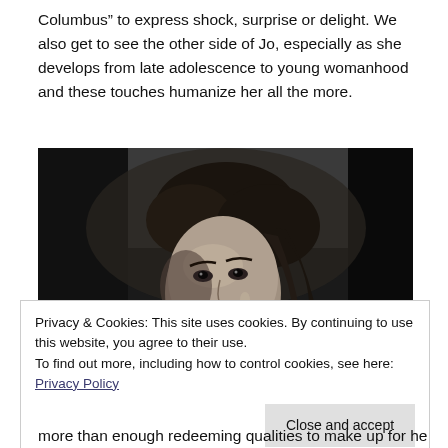Columbus” to express shock, surprise or delight. We also get to see the other side of Jo, especially as she develops from late adolescence to young womanhood and these touches humanize her all the more.
[Figure (photo): Black and white film still of a young woman with curly hair looking to the side, dramatic lighting, appears to be from a classic Hollywood film.]
Privacy & Cookies: This site uses cookies. By continuing to use this website, you agree to their use.
To find out more, including how to control cookies, see here: Privacy Policy
Close and accept
more than enough redeeming qualities to make up for her